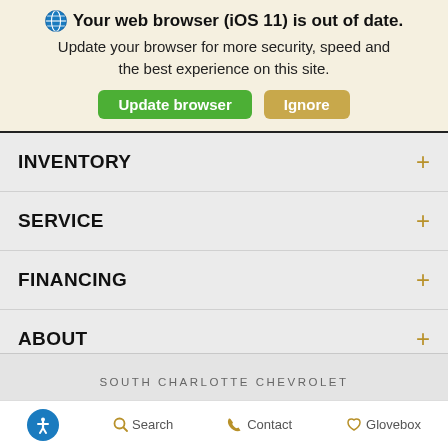🌐 Your web browser (iOS 11) is out of date. Update your browser for more security, speed and the best experience on this site.
Update browser | Ignore
INVENTORY
SERVICE
FINANCING
ABOUT
SOUTH CHARLOTTE CHEVROLET
♿ Search Contact Glovebox